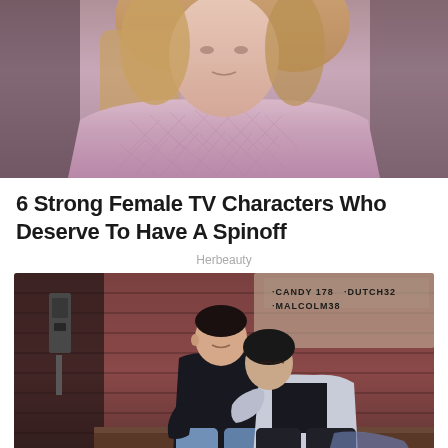[Figure (photo): Close-up photo of a young woman with blonde hair wearing a pink/lavender textured turtleneck sweater, cropped to show her upper torso and face from chin up]
6 Strong Female TV Characters Who Deserve To Have A Spinoff
Herbeauty
[Figure (photo): Photo of two men sitting against a rustic red/brown wooden wall. The man on the left wears a black sweater and jeans, sitting upright. The man on the right wears a light blue shirt and leans on the first man's shoulder. Graffiti text on the wall behind them reads: CANDY 178, DUTCH32, MALCOLM38]